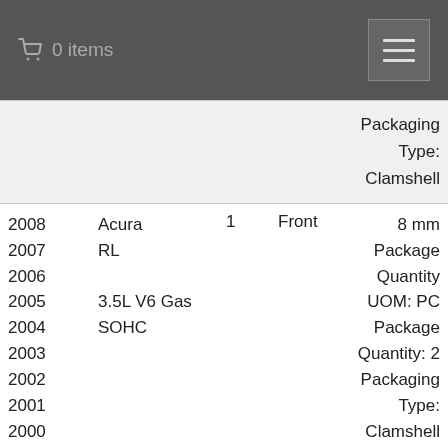0 items
| Year | Make/Model | Qty | Position | Details |
| --- | --- | --- | --- | --- |
|  |  |  |  | Packaging Type: Clamshell |
| 2008
2007
2006
2005
2004
2003
2002
2001
2000
1999
1998
1997
1996 | Acura
RL

3.5L V6 Gas
SOHC | 1 | Front | 8 mm
Package Quantity
UOM: PC
Package Quantity: 2
Packaging Type: Clamshell |